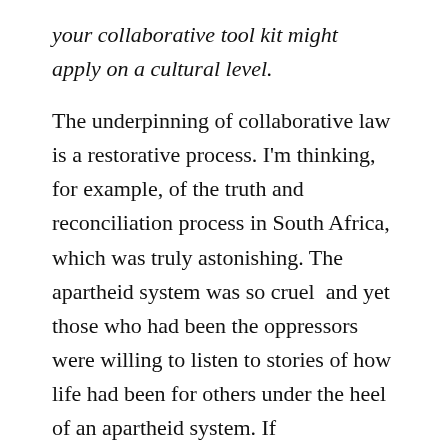your collaborative tool kit might apply on a cultural level.
The underpinning of collaborative law is a restorative process. I'm thinking, for example, of the truth and reconciliation process in South Africa, which was truly astonishing. The apartheid system was so cruel and yet those who had been the oppressors were willing to listen to stories of how life had been for others under the heel of an apartheid system. If